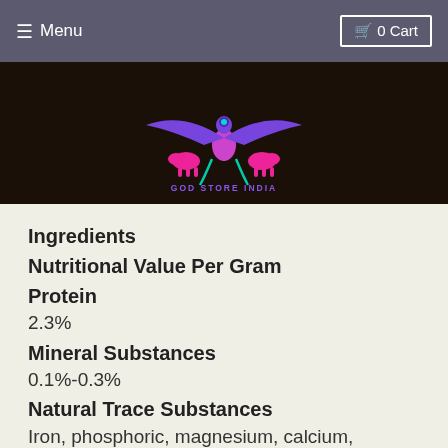≡ Menu   🛒 0 Cart
[Figure (logo): God Store India logo: colorful bird with spread wings (purple), two horse-like creatures (pink), on dark background, with text GOD STORE INDIA below in cyan/purple.]
Ingredients
Nutritional Value Per Gram
Protein
2.3%
Mineral Substances
0.1%-0.3%
Natural Trace Substances
Iron, phosphoric, magnesium, calcium, copper, sulphur, potassium, cobalt, germanium, gold.
Metabolism processing Enzymes